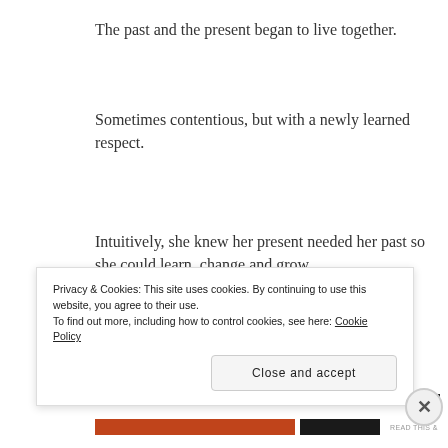The past and the present began to live together.
Sometimes contentious, but with a newly learned respect.
Intuitively, she knew her present needed her past so she could learn, change and grow.
As a new season begins
she holds hands with her past, lives in the present,
and rests.
Privacy & Cookies: This site uses cookies. By continuing to use this website, you agree to their use.
To find out more, including how to control cookies, see here: Cookie Policy
Close and accept